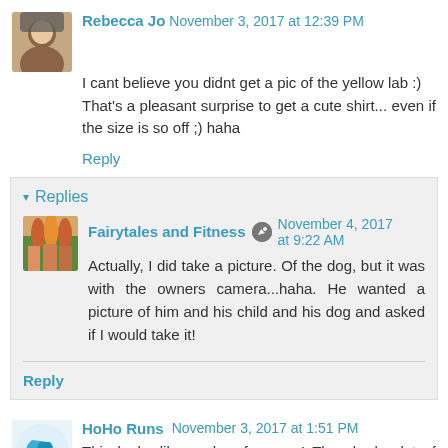Rebecca Jo  November 3, 2017 at 12:39 PM
I cant believe you didnt get a pic of the yellow lab :) That's a pleasant surprise to get a cute shirt... even if the size is so off ;) haha
Reply
Replies
Fairytales and Fitness  November 4, 2017 at 9:22 AM
Actually, I did take a picture. Of the dog, but it was with the owners camera...haha. He wanted a picture of him and his child and his dog and asked if I would take it!
Reply
HoHo Runs  November 3, 2017 at 1:51 PM
This looks like such a fun race! They had a lot of great...